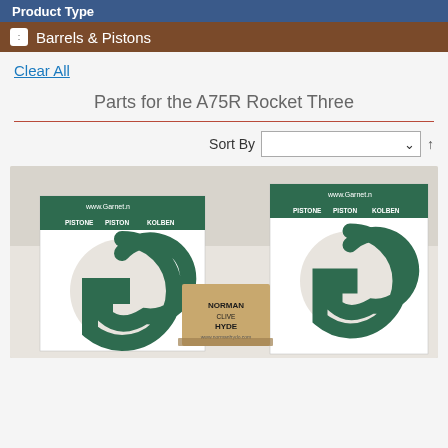Product Type
Barrels & Pistons
Clear All
Parts for the A75R Rocket Three
Sort By
[Figure (photo): Two green and white boxes labeled PISTONE PISTON KOLBEN with a Norman Hyde branded package between them, all on a white surface.]